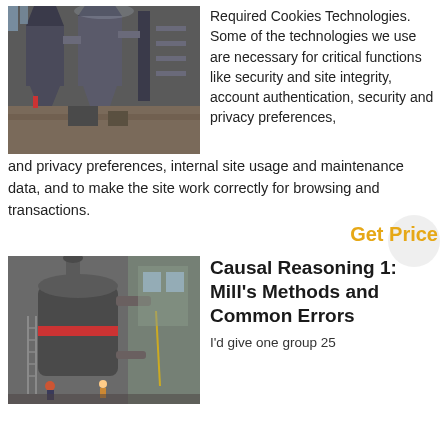[Figure (photo): Industrial interior with large metal silos, conveyor equipment, and structural steel framework in a mill or factory setting.]
Required Cookies Technologies. Some of the technologies we use are necessary for critical functions like security and site integrity, account authentication, security and privacy preferences, internal site usage and maintenance data, and to make the site work correctly for browsing and transactions.
Get Price
[Figure (photo): Industrial mill machine with large cylindrical body, pipes, and workers visible at base, in a factory or plant setting.]
Causal Reasoning 1: Mill's Methods and Common Errors
I'd give one group 25